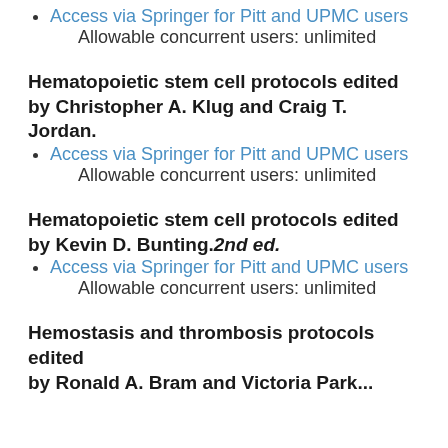Access via Springer for Pitt and UPMC users
Allowable concurrent users: unlimited
Hematopoietic stem cell protocols edited by Christopher A. Klug and Craig T. Jordan.
Access via Springer for Pitt and UPMC users
Allowable concurrent users: unlimited
Hematopoietic stem cell protocols edited by Kevin D. Bunting. 2nd ed.
Access via Springer for Pitt and UPMC users
Allowable concurrent users: unlimited
Hemostasis and thrombosis protocols edited by...